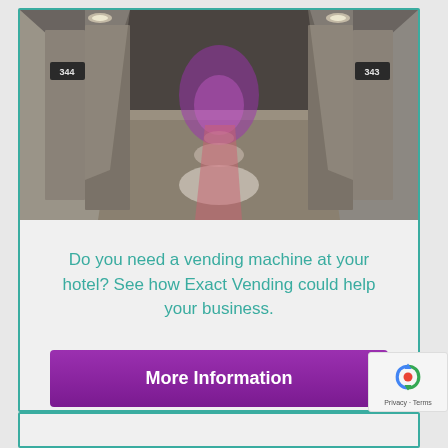[Figure (photo): Hotel corridor with numbered doors (344 on left, 343 on right), patterned carpet, receding perspective down a long hallway lit with purple/pink ambient light at the far end]
Do you need a vending machine at your hotel? See how Exact Vending could help your business.
More Information
[Figure (logo): reCAPTCHA badge showing the reCAPTCHA logo (arrows in circle) and Privacy · Terms links]